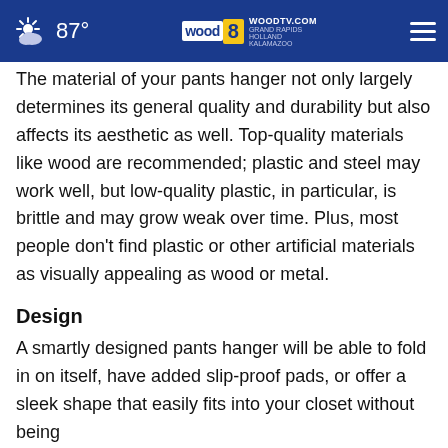87° WOODTV.COM GRAND RAPIDS HOLLAND KALAMAZOO wood 8 TV
The material of your pants hanger not only largely determines its general quality and durability but also affects its aesthetic as well. Top-quality materials like wood are recommended; plastic and steel may work well, but low-quality plastic, in particular, is brittle and may grow weak over time. Plus, most people don't find plastic or other artificial materials as visually appealing as wood or metal.
Design
A smartly designed pants hanger will be able to fold in on itself, have added slip-proof pads, or offer a sleek shape that easily fits into your closet without being